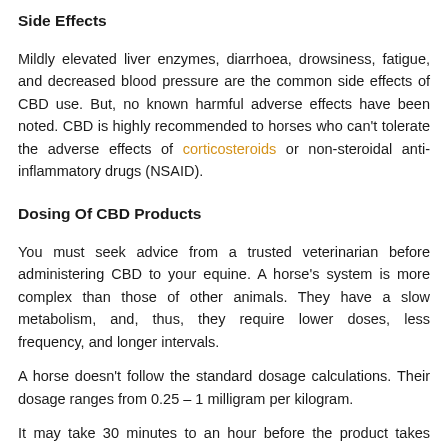Side Effects
Mildly elevated liver enzymes, diarrhoea, drowsiness, fatigue, and decreased blood pressure are the common side effects of CBD use. But, no known harmful adverse effects have been noted. CBD is highly recommended to horses who can't tolerate the adverse effects of corticosteroids or non-steroidal anti-inflammatory drugs (NSAID).
Dosing Of CBD Products
You must seek advice from a trusted veterinarian before administering CBD to your equine. A horse's system is more complex than those of other animals. They have a slow metabolism, and, thus, they require lower doses, less frequency, and longer intervals.
A horse doesn't follow the standard dosage calculations. Their dosage ranges from 0.25 – 1 milligram per kilogram.
It may take 30 minutes to an hour before the product takes effect. Increasing the dose must be done gradually, and you have to observe keenly how your horse reacts to the product.